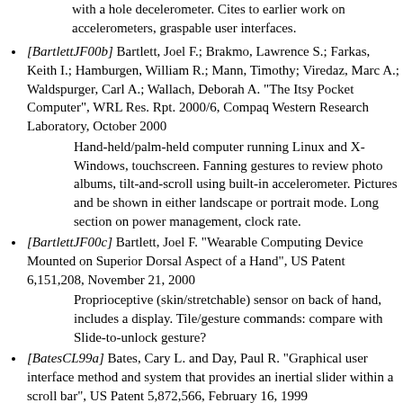[continues from previous] with a hole decelerometer. Cites to earlier work on accelerometers, graspable user interfaces.
[BartlettJF00b] Bartlett, Joel F.; Brakmo, Lawrence S.; Farkas, Keith I.; Hamburgen, William R.; Mann, Timothy; Viredaz, Marc A.; Waldspurger, Carl A.; Wallach, Deborah A. "The Itsy Pocket Computer", WRL Res. Rpt. 2000/6, Compaq Western Research Laboratory, October 2000
Hand-held/palm-held computer running Linux and X-Windows, touchscreen. Fanning gestures to review photo albums, tilt-and-scroll using built-in accelerometer. Pictures and be shown in either landscape or portrait mode. Long section on power management, clock rate.
[BartlettJF00c] Bartlett, Joel F. "Wearable Computing Device Mounted on Superior Dorsal Aspect of a Hand", US Patent 6,151,208, November 21, 2000
Proprioceptive (skin/stretchable) sensor on back of hand, includes a display. Tile/gesture commands: compare with Slide-to-unlock gesture?
[BatesCL99a] Bates, Cary L. and Day, Paul R. "Graphical user interface method and system that provides an inertial slider within a scroll bar", US Patent 5,872,566, February 16, 1999
Scollbar scrolls faster velocity when scrolling larger objects (larger objects have greater inertia), or user moves mouse or touchscreen input faster; no coasting